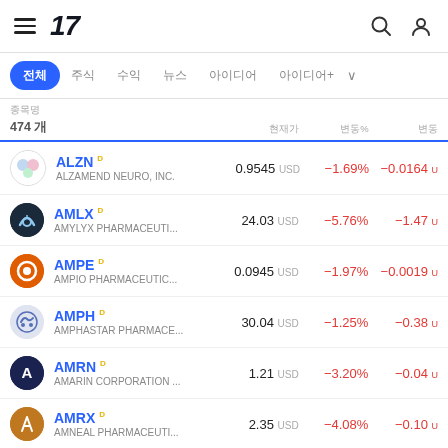TradingView mobile app header with hamburger menu, 17 logo, search and user icons
전체 주식 수익 뉴스 아이디어 아이디어+ ∨
| 종목명/474 개 | 현재가 | 변동% | 변동 |
| --- | --- | --- | --- |
| ALZN D / ALZAMEND NEURO, INC. | 0.9545 USD | −1.69% | −0.0164 U |
| AMLX D / AMYLYX PHARMACEUTI... | 24.03 USD | −5.76% | −1.47 U |
| AMPE D / AMPIO PHARMACEUTIC... | 0.0945 USD | −1.97% | −0.0019 U |
| AMPH D / AMPHASTAR PHARMACE... | 30.04 USD | −1.25% | −0.38 U |
| AMRN D / AMARIN CORPORATION ... | 1.21 USD | −3.20% | −0.04 U |
| AMRX D / AMNEAL PHARMACEUTI... | 2.35 USD | −4.08% | −0.10 U |